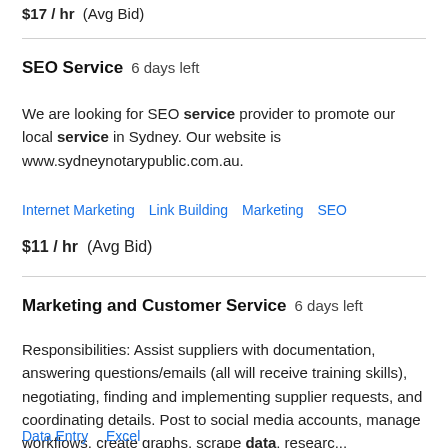$17 / hr  (Avg Bid)
SEO Service  6 days left
We are looking for SEO service provider to promote our local service in Sydney. Our website is www.sydneynotarypublic.com.au.
Internet Marketing   Link Building   Marketing   SEO
$11 / hr   (Avg Bid)
Marketing and Customer Service  6 days left
Responsibilities: Assist suppliers with documentation, answering questions/emails (all will receive training skills), negotiating, finding and implementing supplier requests, and coordinating details. Post to social media accounts, manage workflows, create graphs, scrape data, researc...
Data Entry   Excel